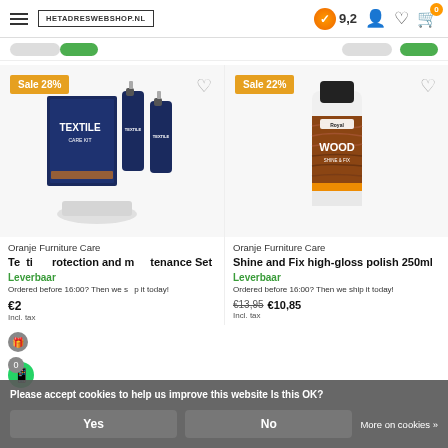HETADRESWEBSHOP.NL — Rating: 9,2
[Figure (screenshot): Navigation bar with hamburger menu, HETADRESWEBSHOP.NL logo, 9.2 rating badge, user icon, heart icon, cart icon with 0 badge]
[Figure (photo): Left product card: Sale 28% badge, Royal Textile Care Kit product image with box and spray bottles]
Oranje Furniture Care
Textile Protection and maintenance Set
Leverbaar
Ordered before 16:00? Then we ship it today!
Incl. tax
[Figure (photo): Right product card: Sale 22% badge, Royal Wood Shine & Fix 250ml bottle product image]
Oranje Furniture Care
Shine and Fix high-gloss polish 250ml
Leverbaar
Ordered before 16:00? Then we ship it today!
€13,95  €10,85
Incl. tax
Please accept cookies to help us improve this website Is this OK?
Yes
No
More on cookies »